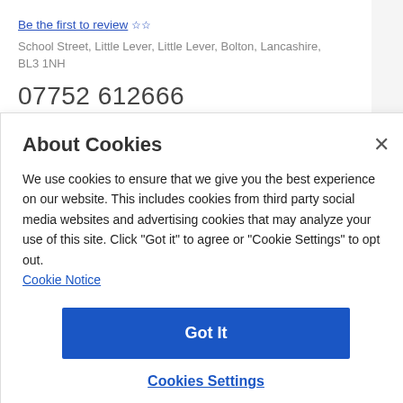Be the first to review ☆☆
School Street, Little Lever, Little Lever, Bolton, Lancashire, BL3 1NH
07752 612666
About Cookies
We use cookies to ensure that we give you the best experience on our website. This includes cookies from third party social media websites and advertising cookies that may analyze your use of this site. Click "Got it" to agree or "Cookie Settings" to opt out.
Cookie Notice
Got It
Cookies Settings